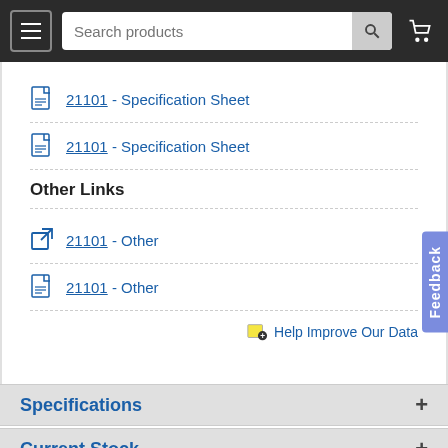[Figure (screenshot): Website navigation bar with hamburger menu, search box reading 'Search products', search button, and cart icon on dark background]
21101 - Specification Sheet
21101 - Specification Sheet
Other Links
21101 - Other
21101 - Other
Help Improve Our Data
Specifications +
Current Stock +